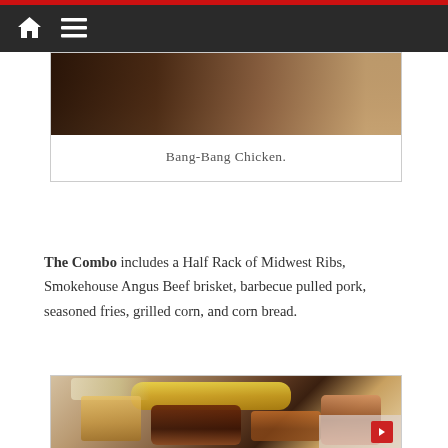Navigation bar with home and menu icons
[Figure (photo): Partial view of Bang-Bang Chicken dish, cropped at top]
Bang-Bang Chicken.
The Combo includes a Half Rack of Midwest Ribs, Smokehouse Angus Beef brisket, barbecue pulled pork, seasoned fries, grilled corn, and corn bread.
[Figure (photo): The Combo dish showing grilled corn on the cob, ribs, pulled pork, brisket, and seasoned fries on a white plate]